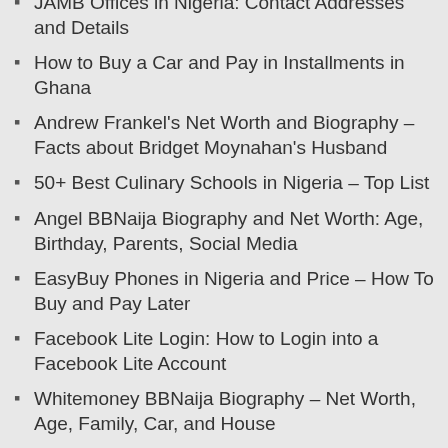JAMB Offices in Nigeria: Contact Addresses and Details
How to Buy a Car and Pay in Installments in Ghana
Andrew Frankel's Net Worth and Biography – Facts about Bridget Moynahan's Husband
50+ Best Culinary Schools in Nigeria – Top List
Angel BBNaija Biography and Net Worth: Age, Birthday, Parents, Social Media
EasyBuy Phones in Nigeria and Price – How To Buy and Pay Later
Facebook Lite Login: How to Login into a Facebook Lite Account
Whitemoney BBNaija Biography – Net Worth, Age, Family, Car, and House
Top 10 Best Universities to Study Medicine in Nigeria